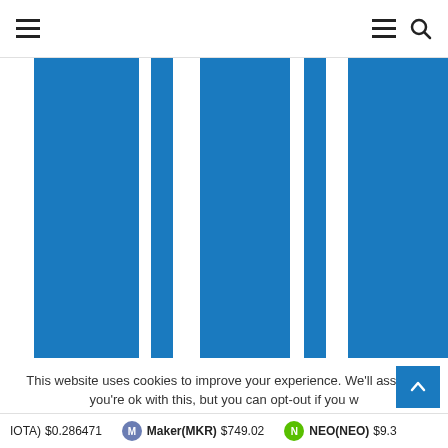Navigation bar with hamburger menu, menu icon, and search icon
[Figure (bar-chart): Three tall blue vertical bars on white background, showing cryptocurrency price or volume data. Bars are approximately equal in height and fill most of the chart area.]
This website uses cookies to improve your experience. We'll assume you're ok with this, but you can opt-out if you w
IOTA) $0.286471   Maker(MKR) $749.02   NEO(NEO) $9.3